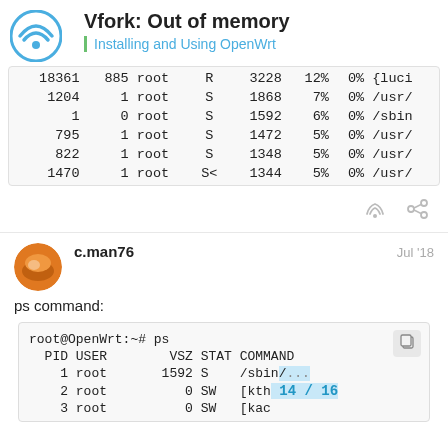Vfork: Out of memory | Installing and Using OpenWrt
| 18361 | 885 | root | R | 3228 | 12% | 0% | {luci |
| 1204 | 1 | root | S | 1868 | 7% | 0% | /usr/ |
| 1 | 0 | root | S | 1592 | 6% | 0% | /sbin |
| 795 | 1 | root | S | 1472 | 5% | 0% | /usr/ |
| 822 | 1 | root | S | 1348 | 5% | 0% | /usr/ |
| 1470 | 1 | root | S< | 1344 | 5% | 0% | /usr/ |
c.man76
Jul '18
ps command:
root@OpenWrt:~# ps
  PID USER        VSZ STAT COMMAND
    1 root       1592 S    /sbin/...
    2 root          0 SW   [kth...
    3 root          0 SW   [kac...
14 / 16